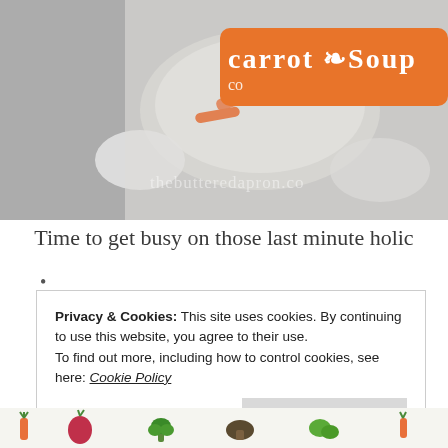[Figure (photo): Top banner photo showing carrot soup in a glass bowl with carrots and vegetables, overlaid with an orange badge reading 'carrot Soup' and watermark text 'thebutteredapron.co']
Time to get busy on those last minute holic
•
Privacy & Cookies: This site uses cookies. By continuing to use this website, you agree to their use.
To find out more, including how to control cookies, see here: Cookie Policy
[Figure (illustration): Bottom strip showing colorful vegetable illustrations including carrots, beetroot, broccoli and other vegetables]